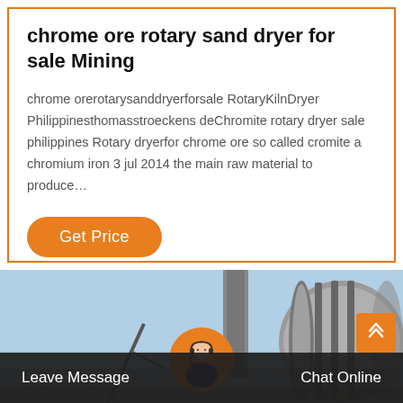chrome ore rotary sand dryer for sale Mining
chrome orerotarysanddryerforsale RotaryKilnDryer Philippinesthomasstroeckens deChromite rotary dryer sale philippines Rotary dryerfor chrome ore so called cromite a chromium iron 3 jul 2014 the main raw material to produce…
[Figure (photo): Industrial rotary dryer equipment photographed from below against a blue sky with a chimney stack visible in the background]
Leave Message   Chat Online